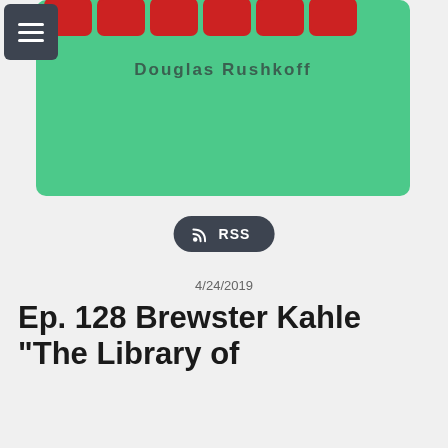[Figure (screenshot): Green podcast card with red icon boxes and Douglas Rushkoff text, with hamburger menu button overlay]
Douglas Rushkoff
RSS
4/24/2019
Ep. 128 Brewster Kahle "The Library of